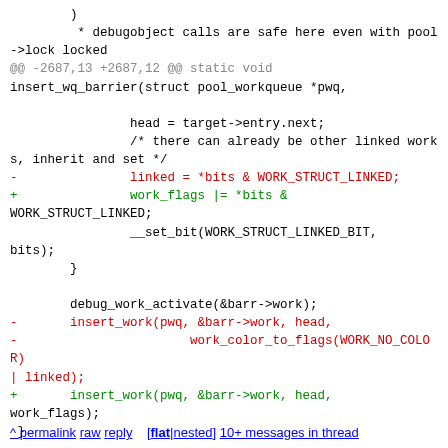* debugobject calls are safe here even with pool->lock locked
@@ -2687,13 +2687,12 @@ static void insert_wq_barrier(struct pool_workqueue *pwq,

                head = target->entry.next;
                /* there can already be other linked works, inherit and set */
-               linked = *bits & WORK_STRUCT_LINKED;
+               work_flags |= *bits &
WORK_STRUCT_LINKED;
                __set_bit(WORK_STRUCT_LINKED_BIT,
bits);
        }

        debug_work_activate(&barr->work);
-       insert_work(pwq, &barr->work, head,
-                       work_color_to_flags(WORK_NO_COLOR)
| linked);
+       insert_work(pwq, &barr->work, head,
work_flags);
 }

 /**
--
2.19.1.6.gb485710b
^ permalink raw reply   [flat|nested] 10+ messages in thread